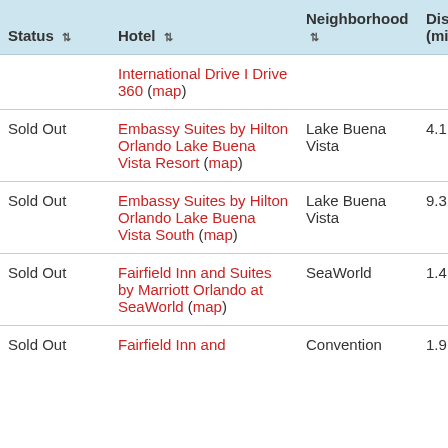| Status | Hotel | Neighborhood | Distance (mi) |
| --- | --- | --- | --- |
|  | International Drive I Drive 360 (map) |  |  |
| Sold Out | Embassy Suites by Hilton Orlando Lake Buena Vista Resort (map) | Lake Buena Vista | 4.1 |
| Sold Out | Embassy Suites by Hilton Orlando Lake Buena Vista South (map) | Lake Buena Vista | 9.3 |
| Sold Out | Fairfield Inn and Suites by Marriott Orlando at SeaWorld (map) | SeaWorld | 1.4 |
| Sold Out | Fairfield Inn and | Convention | 1.9 |